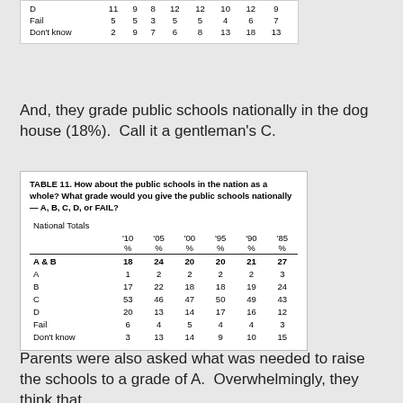|  |  |  |  |  |  |  |  |
| --- | --- | --- | --- | --- | --- | --- | --- |
| D | 11 | 9 | 8 | 12 | 12 | 10 | 12 | 9 |
| Fail | 5 | 5 | 3 | 5 | 5 | 4 | 6 | 7 |
| Don't know | 2 | 9 | 7 | 6 | 8 | 13 | 18 | 13 |
And, they grade public schools nationally in the dog house (18%).  Call it a gentleman's C.
|  | '10 % | '05 % | '00 % | '95 % | '90 % | '85 % |
| --- | --- | --- | --- | --- | --- | --- |
| A & B | 18 | 24 | 20 | 20 | 21 | 27 |
| A | 1 | 2 | 2 | 2 | 2 | 3 |
| B | 17 | 22 | 18 | 18 | 19 | 24 |
| C | 53 | 46 | 47 | 50 | 49 | 43 |
| D | 20 | 13 | 14 | 17 | 16 | 12 |
| Fail | 6 | 4 | 5 | 4 | 4 | 3 |
| Don't know | 3 | 13 | 14 | 9 | 10 | 15 |
Parents were also asked what was needed to raise the schools to a grade of A.  Overwhelmingly, they think that